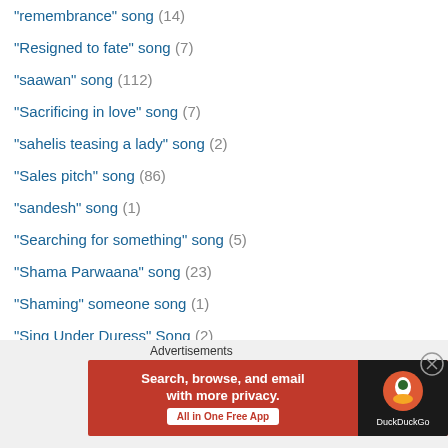"remembrance" song (14)
"Resigned to fate" song (7)
"saawan" song (112)
"Sacrificing in love" song (7)
"sahelis teasing a lady" song (2)
"Sales pitch" song (86)
"sandesh" song (1)
"Searching for something" song (5)
"Shama Parwaana" song (23)
"Shaming" someone song (1)
"Sing Under Duress" Song (2)
"smoking" song (2)
"Sports" song (9)
Cricket Songs (3)
"story" song (97)
"straight talk" song (3)
[Figure (other): DuckDuckGo advertisement banner: Search, browse, and email with more privacy. All in One Free App]